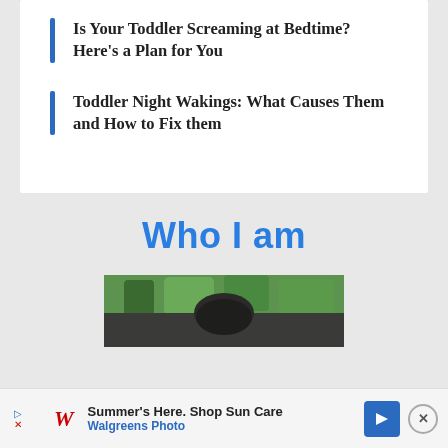Is Your Toddler Screaming at Bedtime? Here's a Plan for You
Toddler Night Wakings: What Causes Them and How to Fix them
Who I am
[Figure (photo): Outdoor photo showing a person from the top of their head with dark hair, surrounded by green trees and foliage in a wooded area]
Summer's Here. Shop Sun Care Walgreens Photo